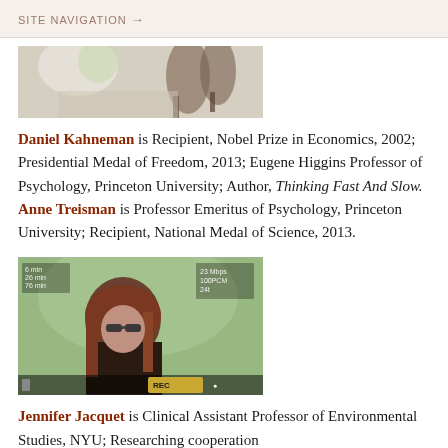SITE NAVIGATION →
[Figure (photo): Photo of people at a table with wine glasses, partially cropped at top]
Daniel Kahneman is Recipient, Nobel Prize in Economics, 2002; Presidential Medal of Freedom, 2013; Eugene Higgins Professor of Psychology, Princeton University; Author, Thinking Fast And Slow. Anne Treisman is Professor Emeritus of Psychology, Princeton University; Recipient, National Medal of Science, 2013.
[Figure (photo): Photo of a woman with sunglasses and long brown hair outdoors, shown through a camera viewfinder overlay]
Jennifer Jacquet is Clinical Assistant Professor of Environmental Studies, NYU; Researching cooperation